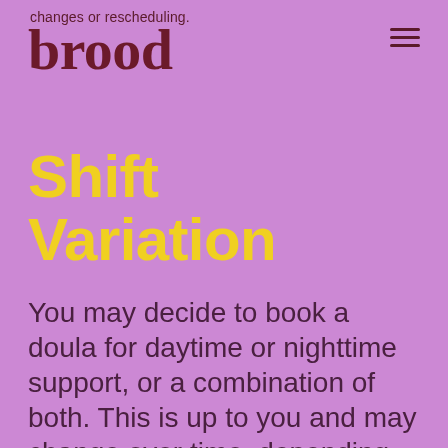changes or rescheduling.
brood
Shift Variation
You may decide to book a doula for daytime or nighttime support, or a combination of both. This is up to you and may change over time, depending on